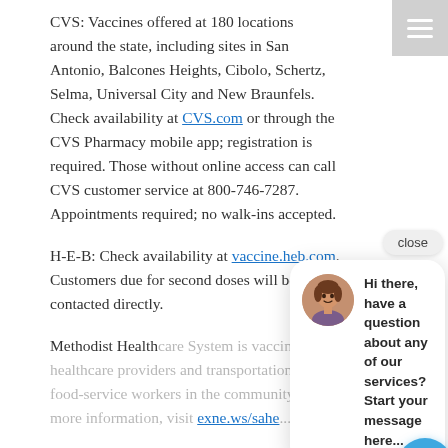CVS: Vaccines offered at 180 locations around the state, including sites in San Antonio, Balcones Heights, Cibolo, Schertz, Selma, Universal City and New Braunfels. Check availability at CVS.com or through the CVS Pharmacy mobile app; registration is required. Those without online access can call CVS customer service at 800-746-7287. Appointments required; no walk-ins accepted.
H-E-B: Check availability at vaccine.heb.com. Customers due for second doses will be contacted directly.
Methodist Health... providers and tra... workers in the co... visit exne.ws/sahe...
San Antonio Milita... Medical Center has booked all available vaccine appointments for next week. BAMC will announce appointments for upcoming weeks every Tuesday evening on its Facebook page. Beneficiaries may
[Figure (screenshot): Chat widget popup with avatar of a woman, close button, and message: Hi there, have a question about any of our services? Start your message here... with a blue circular chat icon button.]